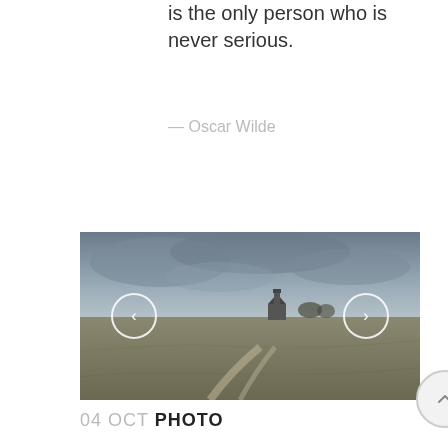is the only person who is never serious.
— Oscar Wilde
[Figure (photo): Black and white landscape photo of an open field with a small stone chapel or building in the distance under a dramatic cloudy sky. Navigation arrows (left and right) overlaid on the photo, and an up-arrow scroll button partially overlapping the bottom-right corner.]
04 OCT PHOTO